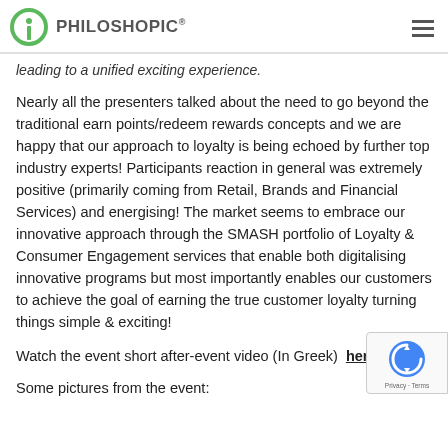PHILOSHOPIC®
leading to a unified exciting experience.
Nearly all the presenters talked about the need to go beyond the traditional earn points/redeem rewards concepts and we are happy that our approach to loyalty is being echoed by further top industry experts! Participants reaction in general was extremely positive (primarily coming from Retail, Brands and Financial Services) and energising! The market seems to embrace our innovative approach through the SMASH portfolio of Loyalty & Consumer Engagement services that enable both digitalising innovative programs but most importantly enables our customers to achieve the goal of earning the true customer loyalty turning things simple & exciting!
Watch the event short after-event video (In Greek)  here
Some pictures from the event: